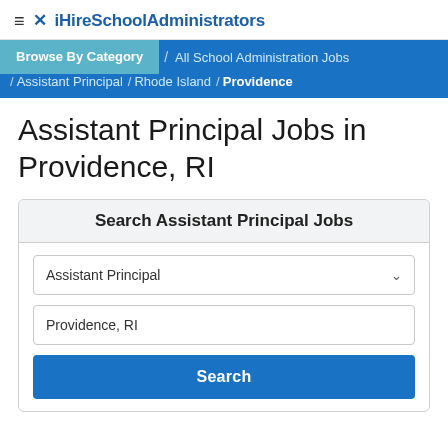≡ ✕ iHireSchoolAdministrators
Browse By Category / All School Administration Jobs / Assistant Principal / Rhode Island / Providence
Assistant Principal Jobs in Providence, RI
Search Assistant Principal Jobs
Assistant Principal
Providence, RI
Search